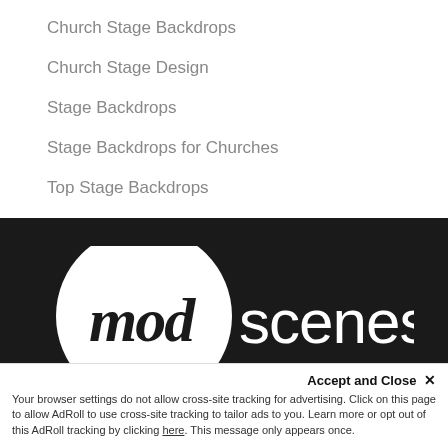Church Stage Backdrops
Church Stage Design
Stage Backdrops
Stage Backdrops for Churches
Top Stage Backdrops
[Figure (logo): Modscenes logo: white circle with 'mod' in cursive script followed by 'scenes' in sans-serif, on dark background]
Accept and Close ✕ Your browser settings do not allow cross-site tracking for advertising. Click on this page to allow AdRoll to use cross-site tracking to tailor ads to you. Learn more or opt out of this AdRoll tracking by clicking here. This message only appears once.